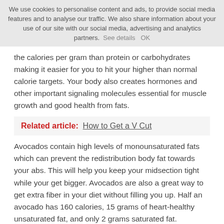We use cookies to personalise content and ads, to provide social media features and to analyse our traffic. We also share information about your use of our site with our social media, advertising and analytics partners. See details OK
the calories per gram than protein or carbohydrates making it easier for you to hit your higher than normal calorie targets. Your body also creates hormones and other important signaling molecules essential for muscle growth and good health from fats.
Related article: How to Get a V Cut
Avocados contain high levels of monounsaturated fats which can prevent the redistribution body fat towards your abs. This will help you keep your midsection tight while your get bigger. Avocados are also a great way to get extra fiber in your diet without filling you up. Half an avocado has 160 calories, 15 grams of heart-healthy unsaturated fat, and only 2 grams saturated fat.
Sharing is caring!
[Figure (other): Social sharing buttons for Facebook and Pinterest]